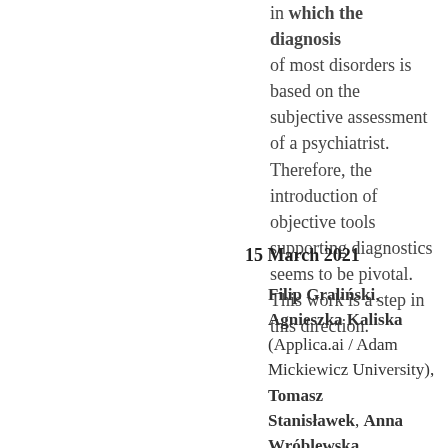in which the diagnosis of most disorders is based on the subjective assessment of a psychiatrist. Therefore, the introduction of objective tools supporting diagnostics seems to be pivotal. This work is a step in this direction.
15 March 2021
Filip Graliński, Agnieszka Kaliska (Applica.ai / Adam Mickiewicz University), Tomasz Stanisławek, Anna Wróblewska (Applica.ai / Warsaw University of Technology), Dawid